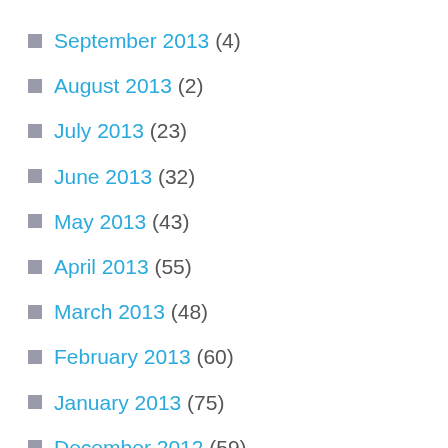September 2013 (4)
August 2013 (2)
July 2013 (23)
June 2013 (32)
May 2013 (43)
April 2013 (55)
March 2013 (48)
February 2013 (60)
January 2013 (75)
December 2012 (59)
November 2012 (66)
October 2012 (97)
September 2012 (61)